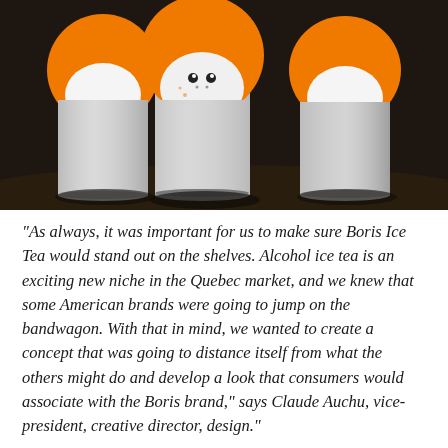[Figure (photo): Three aluminum cans of Boris Ice Tea with a white cartoon character face and orange hair/afro design on a dark brown background. The cans are silver/metallic and the character peeks over them with a playful expression.]
“As always, it was important for us to make sure Boris Ice Tea would stand out on the shelves. Alcohol ice tea is an exciting new niche in the Quebec market, and we knew that some American brands were going to jump on the bandwagon. With that in mind, we wanted to create a concept that was going to distance itself from what the others might do and develop a look that consumers would associate with the Boris brand,” says Claude Auchu, vice-president, creative director, design.”